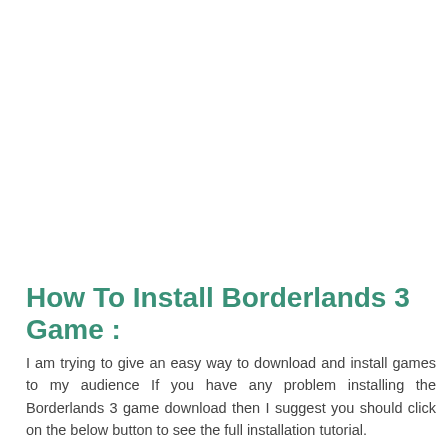How To Install Borderlands 3 Game :
I am trying to give an easy way to download and install games to my audience If you have any problem installing the Borderlands 3 game download then I suggest you should click on the below button to see the full installation tutorial.